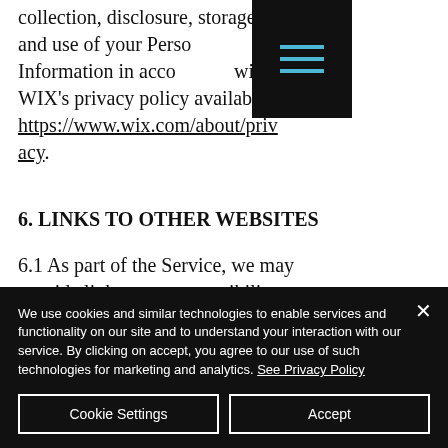collection, disclosure, storage, and use of your Personal Information in accordance with WIX's privacy policy available at https://www.wix.com/about/privacy.
6. LINKS TO OTHER WEBSITES
6.1 As part of the Service, we may provide links to or compatibility with other websites or applications. However, we are
[Figure (other): Hamburger menu icon overlay — black square with three horizontal cyan/teal bars]
We use cookies and similar technologies to enable services and functionality on our site and to understand your interaction with our service. By clicking on accept, you agree to our use of such technologies for marketing and analytics. See Privacy Policy